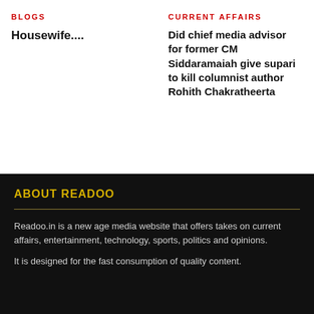BLOGS
Housewife....
CURRENT AFFAIRS
Did chief media advisor for former CM Siddaramaiah give supari to kill columnist author Rohith Chakratheerta
ABOUT READOO
Readoo.in is a new age media website that offers takes on current affairs, entertainment, technology, sports, politics and opinions.
It is designed for the fast consumption of quality content.